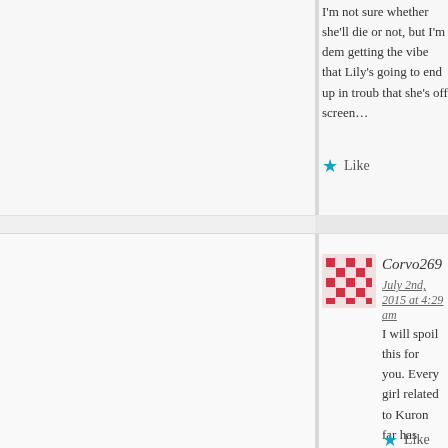I'm not sure whether she'll die or not, but I'm definitely getting the vibe that Lily's going to end up in trouble now that she's off screen…
★ Like
Corvo269
July 2nd, 2015 at 4:29 am
I will spoil this for you. Every girl related to Kuron so far has either died or gone Yandere for him. You decide what happens to Lily
★ Like
Anonymous
July 12th, 2015 at 2:51 am
Advertisements
[Figure (screenshot): DuckDuckGo advertisement banner: orange left side reading 'Search, browse, and email with more privacy. All in One Free App' and dark right side with DuckDuckGo logo]